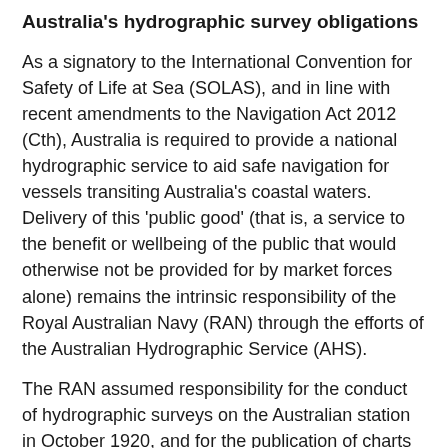Australia's hydrographic survey obligations
As a signatory to the International Convention for Safety of Life at Sea (SOLAS), and in line with recent amendments to the Navigation Act 2012 (Cth), Australia is required to provide a national hydrographic service to aid safe navigation for vessels transiting Australia's coastal waters. Delivery of this 'public good' (that is, a service to the benefit or wellbeing of the public that would otherwise not be provided for by market forces alone) remains the intrinsic responsibility of the Royal Australian Navy (RAN) through the efforts of the Australian Hydrographic Service (AHS).
The RAN assumed responsibility for the conduct of hydrographic surveys on the Australian station in October 1920, and for the publication of charts in 1942. In 1946, the Federal Government assigned the Commonwealth Naval Board responsibility for the surveying and charting of Australian waters, which was re-confirmed in 1988 after a review of Commonwealth mapping activities. Since this time, the AHS organisation has provided survey and maritime charting services as the Commonwealth